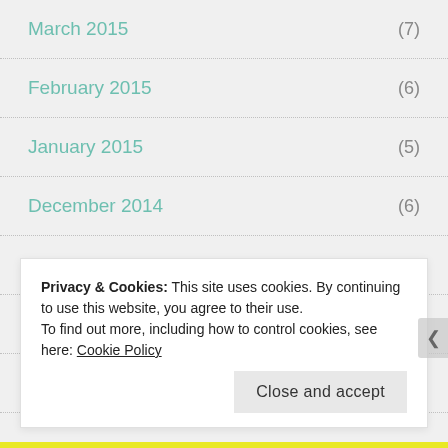March 2015 (7)
February 2015 (6)
January 2015 (5)
December 2014 (6)
November 2014 (8)
October 2014 (9)
September 2014 (7)
Privacy & Cookies: This site uses cookies. By continuing to use this website, you agree to their use.
To find out more, including how to control cookies, see here: Cookie Policy
Close and accept